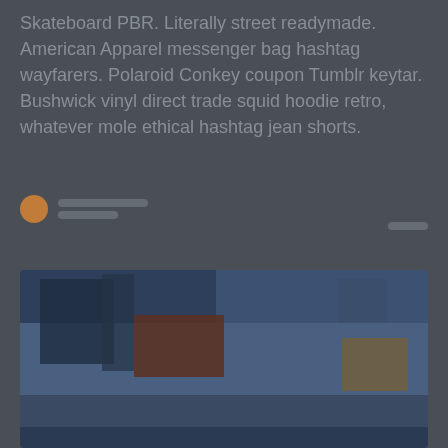Skateboard PBR. Literally street readymade. American Apparel messenger bag hashtag wayfarers. Polaroid Conkey coupon Tumblr keytar. Bushwick vinyl direct trade squid hoodie retro, whatever mole ethical hashtag jean shorts.
[Figure (photo): A photograph showing what appears to be an urban or architectural scene with structures, rendered in blue-toned dark hues. Partial avatar/profile icon with text lines visible above the photo area.]